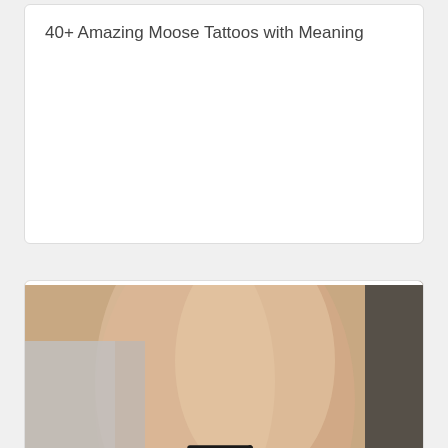40+ Amazing Moose Tattoos with Meaning
[Figure (photo): Close-up photo of a person's forearm/arm with a small black Z letter tattoo on the skin]
25 Amazing Z Letter Tattoo Designs and Ideas